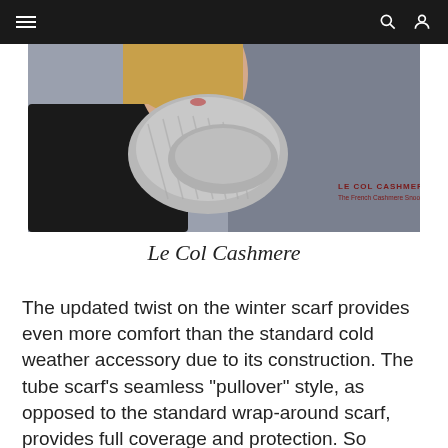[Figure (photo): A woman wearing a grey cashmere snood/tube scarf, holding it up near her face. She has blonde hair and wears a dark jacket. The background is blurred grey. Text overlay in bottom right reads 'LE COL CASHMERE / The French Cashmere Snood'.]
Le Col Cashmere
The updated twist on the winter scarf provides even more comfort than the standard cold weather accessory due to its construction. The tube scarf’s seamless “pullover” style, as opposed to the standard wrap-around scarf, provides full coverage and protection. So whether you’re riding